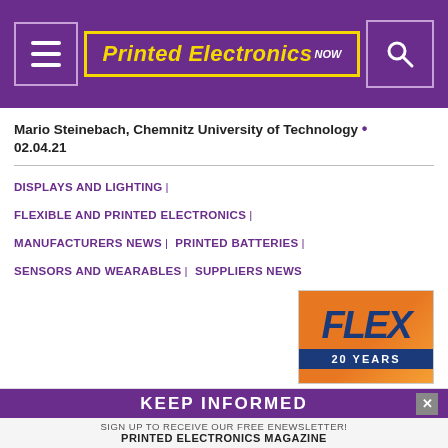Printed Electronics NOW
Mario Steinebach, Chemnitz University of Technology • 02.04.21
DISPLAYS AND LIGHTING | FLEXIBLE AND PRINTED ELECTRONICS | MANUFACTURERS NEWS | PRINTED BATTERIES | SENSORS AND WEARABLES | SUPPLIERS NEWS
[Figure (logo): FLEX 20 YEARS advertisement logo with orange gradient background and blue text]
Sustainability, Innovation Will Be Highlights for 2021 FLEX
KEEP INFORMED — SIGN UP TO RECEIVE OUR FREE ENEWSLETTER! PRINTED ELECTRONICS MAGAZINE